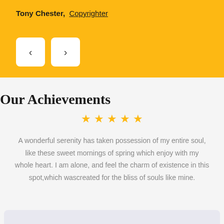Tony Chester, Copyrighter
[Figure (other): Navigation buttons: left arrow and right arrow on yellow banner background]
Our Achievements
[Figure (other): Five gold star rating icons]
A wonderful serenity has taken possession of my entire soul, like these sweet mornings of spring which enjoy with my whole heart. I am alone, and feel the charm of existence in this spot,which wascreated for the bliss of souls like mine.